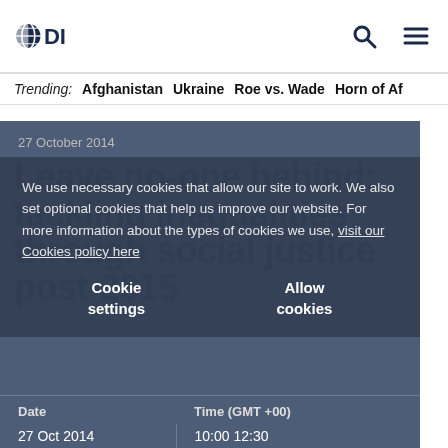ODI
Trending: Afghanistan Ukraine Roe vs. Wade Horn of Af
27 October 2014
Leave no-one behind: tackling inequalities through social justice post-2015
We use necessary cookies that allow our site to work. We also set optional cookies that help us improve our website. For more information about the types of cookies we use, visit our Cookies policy here
Cookie settings    Allow cookies
| Date | Time (GMT +00) |
| --- | --- |
| 27 Oct 2014 | 10:00 12:30 |